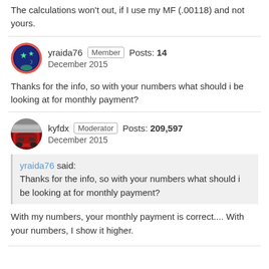The calculations won't out, if I use my MF (.00118) and not yours.
yraida76  Member  Posts: 14  December 2015
Thanks for the info, so with your numbers what should i be looking at for monthly payment?
kyfdx  Moderator  Posts: 209,597  December 2015
yraida76 said:
Thanks for the info, so with your numbers what should i be looking at for monthly payment?
With my numbers, your monthly payment is correct.... With your numbers, I show it higher.